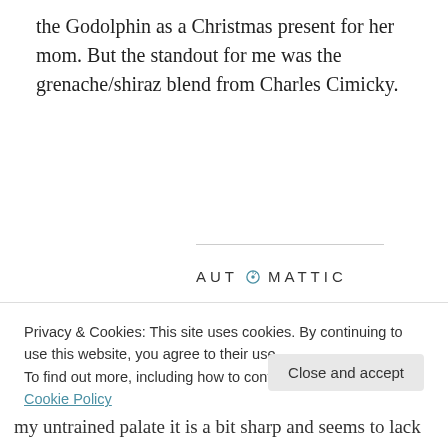the Godolphin as a Christmas present for her mom. But the standout for me was the grenache/shiraz blend from Charles Cimicky.
[Figure (logo): Automattic logo with stylized O containing a compass/arrow symbol, displayed in uppercase spaced letters]
[Figure (infographic): Automattic advertisement: 'Build a better web and a better world.' with a blue Apply button and a circular portrait photo of a man with glasses]
Privacy & Cookies: This site uses cookies. By continuing to use this website, you agree to their use.
To find out more, including how to control cookies, see here: Cookie Policy
my untrained palate it is a bit sharp and seems to lack